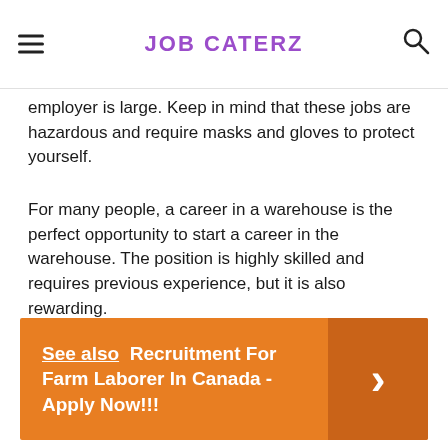JOB CATERZ
employer is large. Keep in mind that these jobs are hazardous and require masks and gloves to protect yourself.
For many people, a career in a warehouse is the perfect opportunity to start a career in the warehouse. The position is highly skilled and requires previous experience, but it is also rewarding.
See also  Recruitment For Farm Laborer In Canada - Apply Now!!!